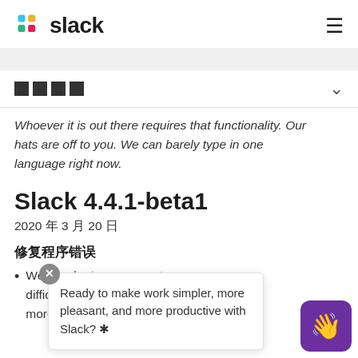slack
□□□□
Whoever it is out there requires that functionality. Our hats are off to you. We can barely type in one language right now.
Slack 4.4.1-beta1
2020 年 3 月 20 日
修复程序错误
We tweaked ... or too difficult to e... ula... more intere... e
Ready to make work simpler, more pleasant, and more productive with Slack? ✳